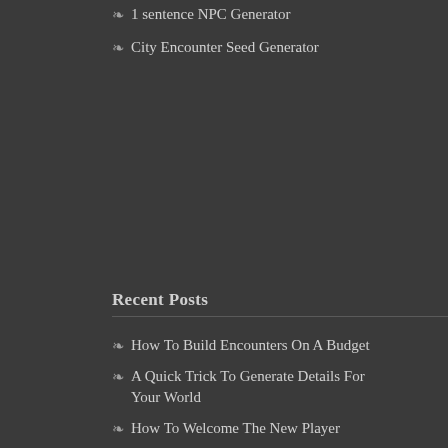1 sentence NPC Generator
City Encounter Seed Generator
Recent Posts
How To Build Encounters On A Budget
A Quick Trick To Generate Details For Your World
How To Welcome The New Player
How to Motivate Your Players – Part II
d6 Tips For a Player's First Session
How to Deal with Silence at the Table
My Secret Ingredient For Making Great Puzzles